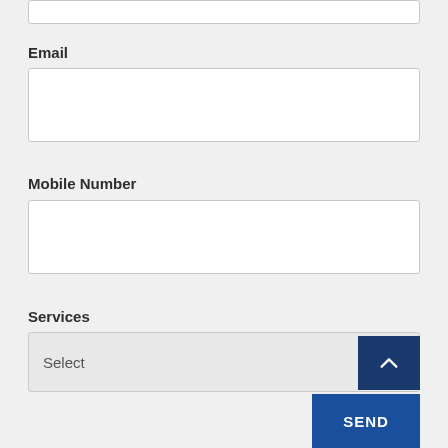Email
Mobile Number
Services
Select
SEND